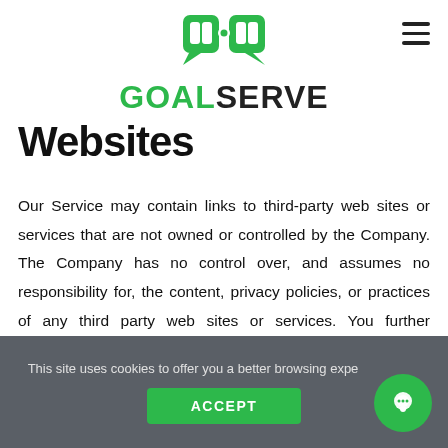[Figure (logo): GoalServe logo: green football/soccer goal icon with two speech bubbles forming a goal, above the text GOALSERVE in green and black bold letters]
Websites
Our Service may contain links to third-party web sites or services that are not owned or controlled by the Company. The Company has no control over, and assumes no responsibility for, the content, privacy policies, or practices of any third party web sites or services. You further acknowledge and agree that the Company shall not be
This site uses cookies to offer you a better browsing expe… ACCEPT